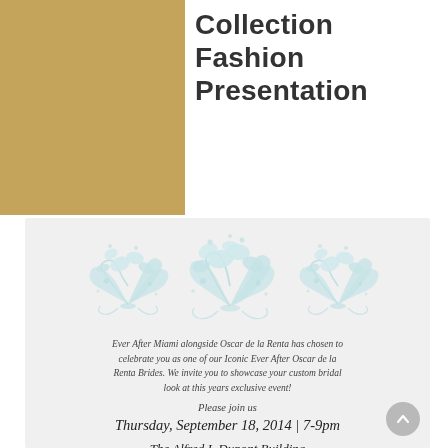Collection Fashion Presentation
[Figure (illustration): Light blue floral/botanical decorative illustration with three clusters of ornate flowers and leaves in a pale teal/mint color on a light gray background]
Ever After Miami alongside Oscar de la Renta has chosen to celebrate you as one of our Iconic Ever After Oscar de la Renta Brides. We invite you to showcase your custom bridal look at this years exclusive event!
Please join us
Thursday, September 18, 2014 | 7-9pm
The Alfred I. Dupont Building
169 E Flagler Street, Miami, FL 33131
Ever After is delighted to be a part of the lives of such extraordinary women like you. Showcasing you at this years